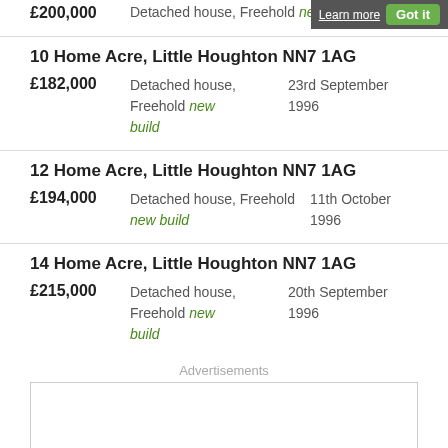Learn more   Got it
£200,000   Detached house, Freehold new build
10 Home Acre, Little Houghton NN7 1AG
£182,000   Detached house, Freehold new build   23rd September 1996
12 Home Acre, Little Houghton NN7 1AG
£194,000   Detached house, Freehold new build   11th October 1996
14 Home Acre, Little Houghton NN7 1AG
£215,000   Detached house, Freehold new build   20th September 1996
Advertisements
[Figure (other): Advertisement placeholder box]